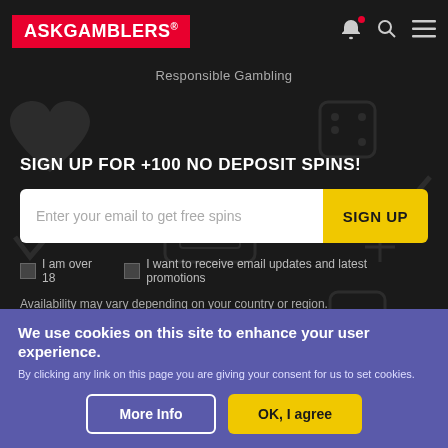ASKGAMBLERS®
Responsible Gambling
SIGN UP FOR +100 NO DEPOSIT SPINS!
Enter your email to get free spins [SIGN UP button]
I am over 18   I want to receive email updates and latest promotions
Availability may vary depending on your country or region.
By subscribing you are certifying that you have reviewed and accepted our updated Privacy and Cookie Policy
We use cookies on this site to enhance your user experience.
By clicking any link on this page you are giving your consent for us to set cookies.
More Info   OK, I agree